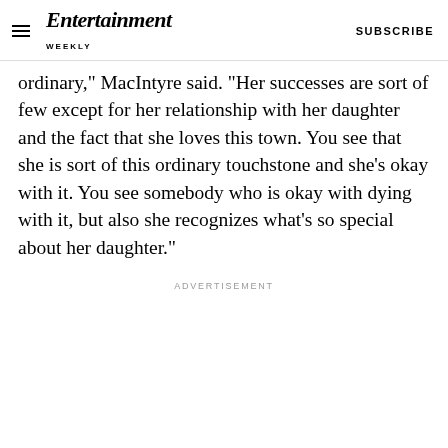Entertainment Weekly — SUBSCRIBE
ordinary,” MacIntyre said. “Her successes are sort of few except for her relationship with her daughter and the fact that she loves this town. You see that she is sort of this ordinary touchstone and she’s okay with it. You see somebody who is okay with dying with it, but also she recognizes what’s so special about her daughter.”
ADVERTISEMENT